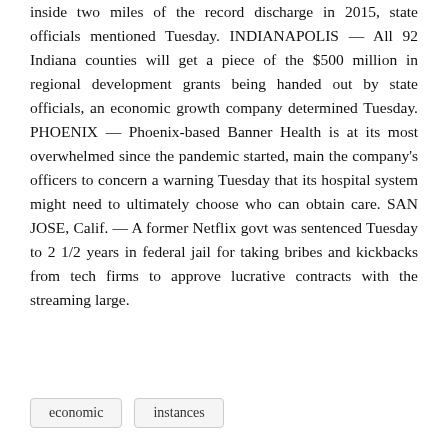inside two miles of the record discharge in 2015, state officials mentioned Tuesday. INDIANAPOLIS — All 92 Indiana counties will get a piece of the $500 million in regional development grants being handed out by state officials, an economic growth company determined Tuesday. PHOENIX — Phoenix-based Banner Health is at its most overwhelmed since the pandemic started, main the company's officers to concern a warning Tuesday that its hospital system might need to ultimately choose who can obtain care. SAN JOSE, Calif. — A former Netflix govt was sentenced Tuesday to 2 1/2 years in federal jail for taking bribes and kickbacks from tech firms to approve lucrative contracts with the streaming large.
economic
instances